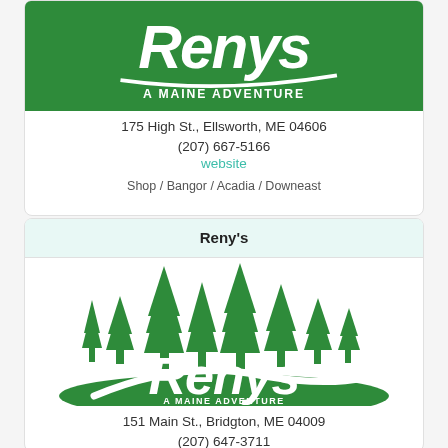[Figure (logo): Reny's - A Maine Adventure logo, green background with white stylized text]
175 High St., Ellsworth, ME 04606
(207) 667-5166
website
Shop / Bangor / Acadia / Downeast
Reny's
[Figure (logo): Reny's - A Maine Adventure logo with pine trees illustrated above text]
151 Main St., Bridgton, ME 04009
(207) 647-3711